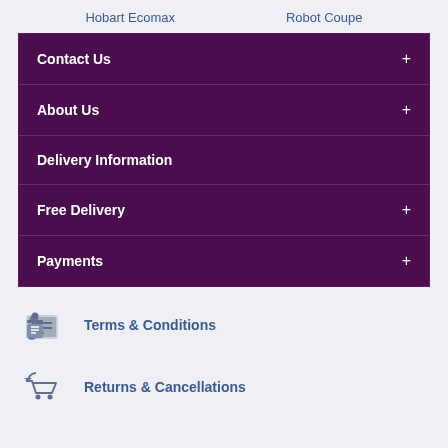Hobart Ecomax    Robot Coupe
Contact Us
About Us
Delivery Information
Free Delivery
Payments
Terms & Conditions
Returns & Cancellations